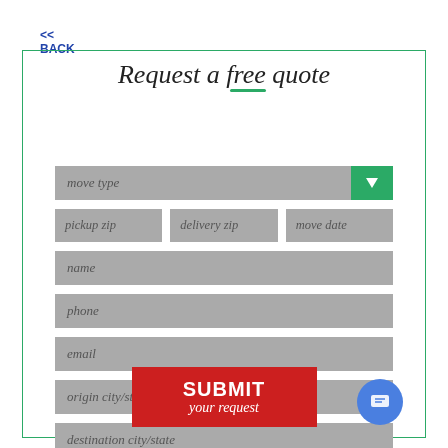<< BACK
Request a free quote
[Figure (screenshot): Web form with fields: move type (dropdown), pickup zip, delivery zip, move date, name, phone, email, origin city/state, destination city/state, and a SUBMIT your request button]